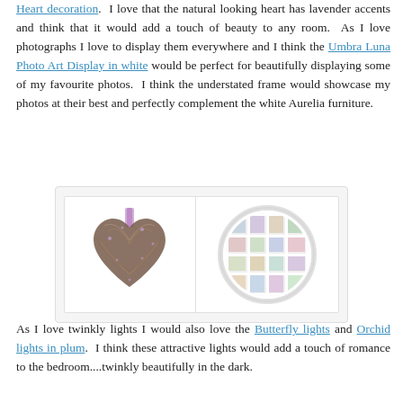Heart decoration. I love that the natural looking heart has lavender accents and think that it would add a touch of beauty to any room. As I love photographs I love to display them everywhere and I think the Umbra Luna Photo Art Display in white would be perfect for beautifully displaying some of my favourite photos. I think the understated frame would showcase my photos at their best and perfectly complement the white Aurelia furniture.
[Figure (photo): Two product images side by side: left shows a wicker/twig heart decoration with a purple ribbon hanging loop; right shows a circular white multi-photo display frame (Umbra Luna) containing multiple photos arranged in a grid pattern.]
As I love twinkly lights I would also love the Butterfly lights and Orchid lights in plum. I think these attractive lights would add a touch of romance to the bedroom....twinkly beautifully in the dark.